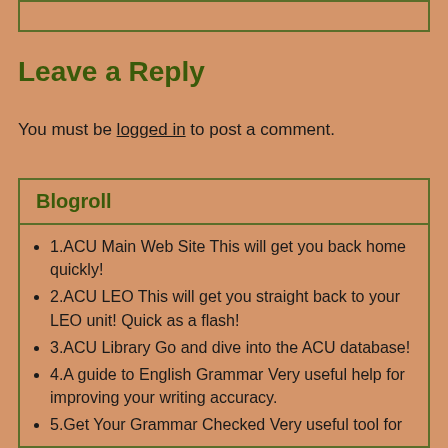Leave a Reply
You must be logged in to post a comment.
Blogroll
1.ACU Main Web Site This will get you back home quickly!
2.ACU LEO This will get you straight back to your LEO unit! Quick as a flash!
3.ACU Library Go and dive into the ACU database!
4.A guide to English Grammar Very useful help for improving your writing accuracy.
5.Get Your Grammar Checked Very useful tool for